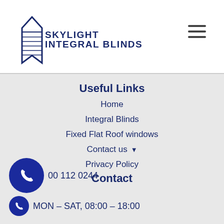[Figure (logo): Skylight Integral Blinds logo with stylized blind/window graphic and company name in dark navy uppercase text]
Useful Links
Home
Integral Blinds
Fixed Flat Roof windows
Contact us ▾
Privacy Policy
Contact
00 112 0244
MON – SAT, 08:00 – 18:00